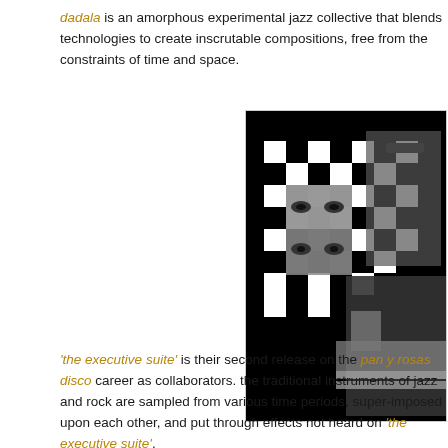dadala is an amorphous experimental jazz collective that blends technologies to create inscrutable compositions, free from the constraints of time and space.
[Figure (photo): Black and white collage photo showing a checkerboard pattern overlaid with close-up eyes/face fragments, and musicians playing instruments in the background]
'the executive suite' is their second release on the pan y rosas disco label, continuing their career as collaborators. the traditional instruments of jazz and rock are sampled from various time periods, super-imposed upon each other, and put through... heard on 'the executive suite'.